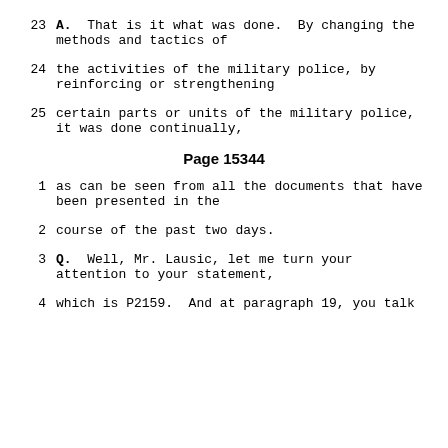23    A.  That is it what was done.  By changing the methods and tactics of
24    the activities of the military police, by reinforcing or strengthening
25    certain parts or units of the military police, it was done continually,
Page 15344
1    as can be seen from all the documents that have been presented in the
2    course of the past two days.
3    Q.  Well, Mr. Lausic, let me turn your attention to your statement,
4    which is P2159.  And at paragraph 19, you talk